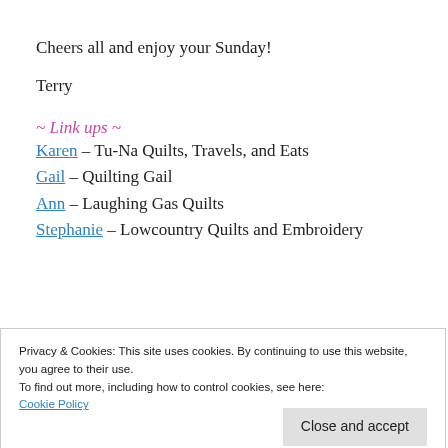Cheers all and enjoy your Sunday!
Terry
~ Link ups ~
Karen – Tu-Na Quilts, Travels, and Eats
Gail – Quilting Gail
Ann – Laughing Gas Quilts
Stephanie – Lowcountry Quilts and Embroidery
Privacy & Cookies: This site uses cookies. By continuing to use this website, you agree to their use.
To find out more, including how to control cookies, see here:
Cookie Policy
Close and accept
Your FSO Skin